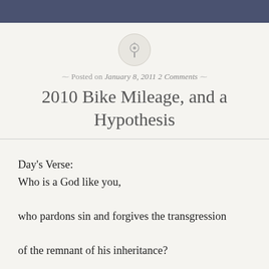[Figure (illustration): A circular pin/pushpin icon with a thumbtack symbol inside a light gray circle]
Posted on January 8, 2011 2 Comments
2010 Bike Mileage, and a Hypothesis
Day's Verse:
Who is a God like you,
who pardons sin and forgives the transgression
of the remnant of his inheritance?
You do not stay angry forever